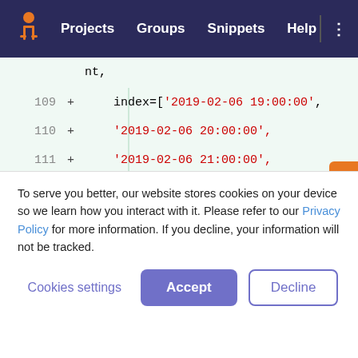Projects  Groups  Snippets  Help
[Figure (screenshot): Code diff view showing lines 109-114 of a Python file with datetime index values and a print statement for predicted_series_values]
To serve you better, our website stores cookies on your device so we learn how you interact with it. Please refer to our Privacy Policy for more information. If you decline, your information will not be tracked.